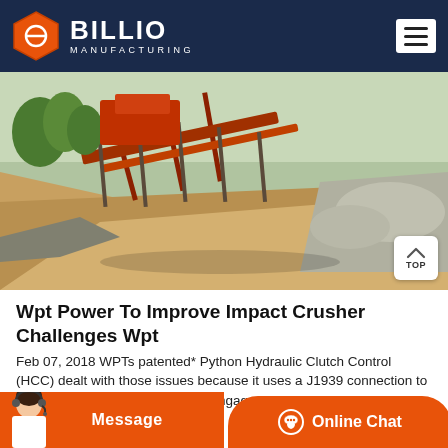BILLIO MANUFACTURING
[Figure (photo): Outdoor mining/quarry site with conveyor belts, rock piles, and industrial equipment under sunny sky]
Wpt Power To Improve Impact Crusher Challenges Wpt
Feb 07, 2018 WPTs patented* Python Hydraulic Clutch Control (HCC) dealt with those issues because it uses a J1939 connection to read the engines output RPM to engage the PTO at a rate that is most beneficial for
Message | Online Chat